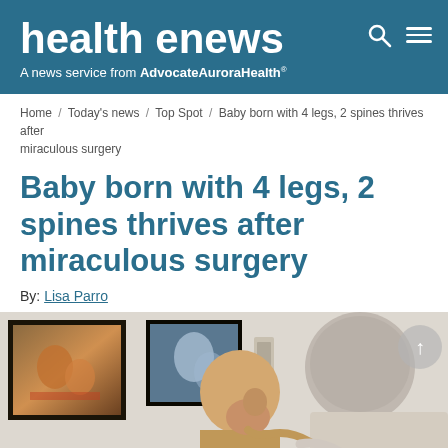health enews — A news service from AdvocateAuroraHealth
Home / Today's news / Top Spot / Baby born with 4 legs, 2 spines thrives after miraculous surgery
Baby born with 4 legs, 2 spines thrives after miraculous surgery
By: Lisa Parro
[Figure (photo): A doctor with gray hair examining a baby held by a woman in a medical office setting, with framed hockey photos on the wall behind them and a medical wall unit visible.]